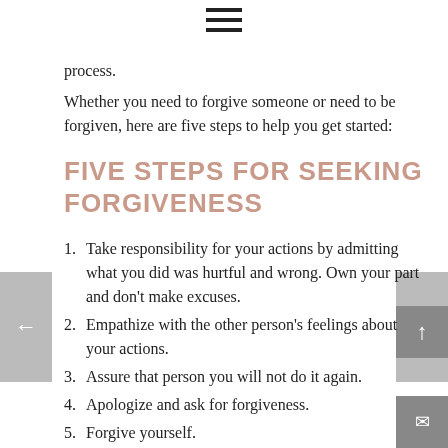≡
process.
Whether you need to forgive someone or need to be forgiven, here are five steps to help you get started:
FIVE STEPS FOR SEEKING FORGIVENESS
Take responsibility for your actions by admitting what you did was hurtful and wrong. Own your part and don't make excuses.
Empathize with the other person's feelings about your actions.
Assure that person you will not do it again.
Apologize and ask for forgiveness.
Forgive yourself.
FIVE STEPS TO GIVE FORGIVENESS